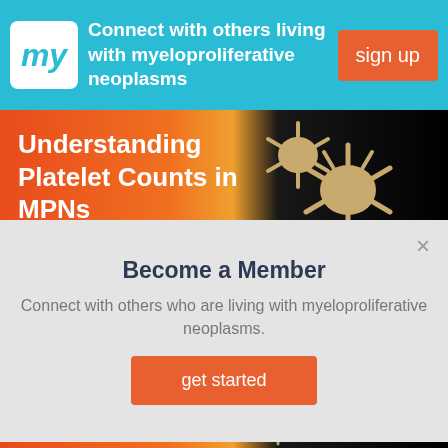[Figure (screenshot): Top banner with 'my' logo, cyan background, text 'Connect with others living with myeloproliferative neoplasms', and orange 'sign up' button]
Connect with others living with myeloproliferative neoplasms
sign up
[Figure (photo): Hero image with orange-red gradient background and 3D platelet cells on dark background, titled 'Understanding Platelet Counts in MPNs']
Understanding Platelet Counts in MPNs
[Figure (screenshot): Modal popup on gray background with 'Become a Member' heading, body text about connecting with others living with myeloproliferative neoplasms, and orange 'get started' button. Has X close button.]
Become a Member
Connect with others who are living with myeloproliferative neoplasms.
get started
How and Why Do MPNs Transform?
[Figure (photo): Bottom partial image showing orange-red gradient with blue blood cells and a platelet cell on dark background]